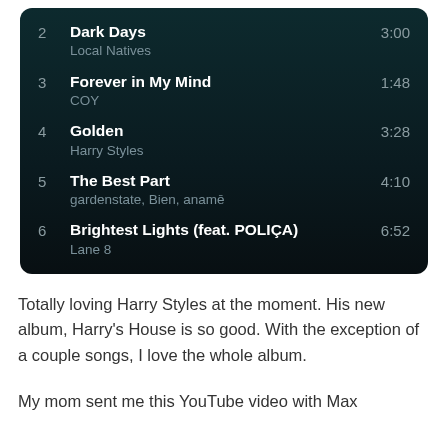| # | Title / Artist | Duration |
| --- | --- | --- |
| 2 | Dark Days
Local Natives | 3:00 |
| 3 | Forever in My Mind
COY | 1:48 |
| 4 | Golden
Harry Styles | 3:28 |
| 5 | The Best Part
gardenstate, Bien, anamē | 4:10 |
| 6 | Brightest Lights (feat. POLIÇA)
Lane 8 | 6:52 |
Totally loving Harry Styles at the moment. His new album, Harry's House is so good. With the exception of a couple songs, I love the whole album.
My mom sent me this YouTube video with Max